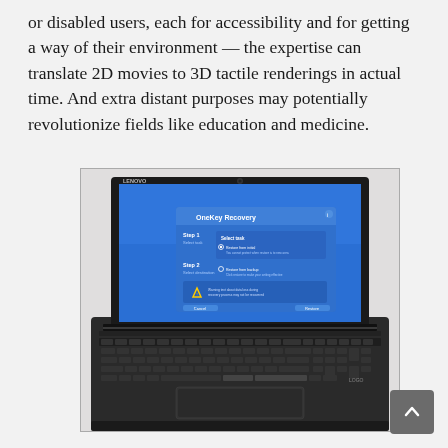or disabled users, each for accessibility and for getting a way of their environment — the expertise can translate 2D movies to 3D tactile renderings in actual time. And extra distant purposes may potentially revolutionize fields like education and medicine.
[Figure (photo): A Lenovo laptop open with a blue OneKey Recovery screen displayed on its monitor, photographed from a slightly elevated angle against a white cloth background.]